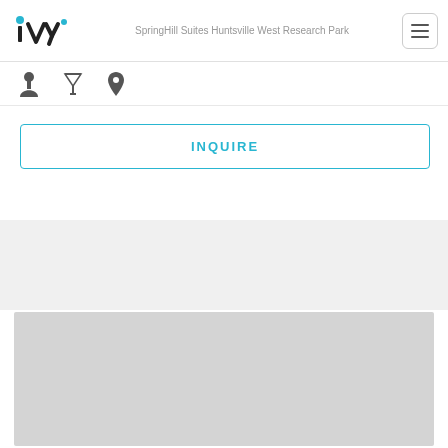iVvy — SpringHill Suites Huntsville West Research Park
[Figure (screenshot): Navigation icon bar with person, filter, and location pin icons]
INQUIRE
[Figure (map): Gray placeholder map area]